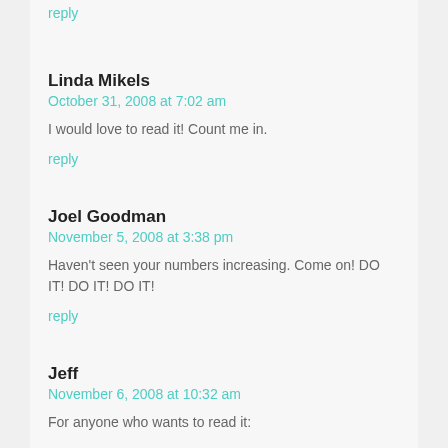reply
Linda Mikels
October 31, 2008 at 7:02 am
I would love to read it! Count me in.
reply
Joel Goodman
November 5, 2008 at 3:38 pm
Haven't seen your numbers increasing. Come on! DO IT! DO IT! DO IT!
reply
Jeff
November 6, 2008 at 10:32 am
For anyone who wants to read it: